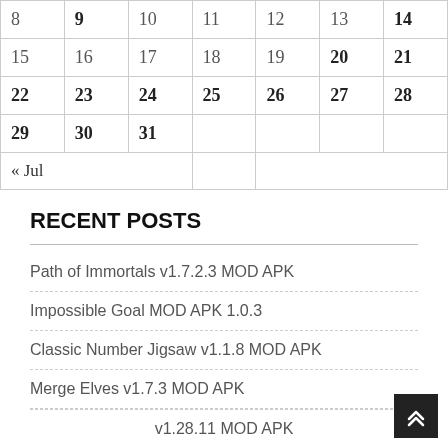| 8 | 9 | 10 | 11 | 12 | 13 | 14 |
| 15 | 16 | 17 | 18 | 19 | 20 | 21 |
| 22 | 23 | 24 | 25 | 26 | 27 | 28 |
| 29 | 30 | 31 |  |  |  |  |
| « Jul |  |  |  |  |  |  |
RECENT POSTS
Path of Immortals v1.7.2.3 MOD APK
Impossible Goal MOD APK 1.0.3
Classic Number Jigsaw v1.1.8 MOD APK
Merge Elves v1.7.3 MOD APK
v1.28.11 MOD APK